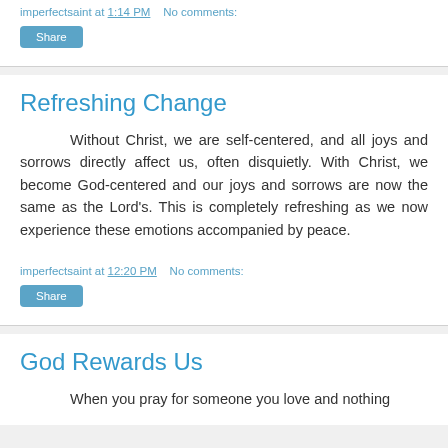imperfectsaint at 1:14 PM   No comments:
Share
Refreshing Change
Without Christ, we are self-centered, and all joys and sorrows directly affect us, often disquietly. With Christ, we become God-centered and our joys and sorrows are now the same as the Lord's. This is completely refreshing as we now experience these emotions accompanied by peace.
imperfectsaint at 12:20 PM   No comments:
Share
God Rewards Us
When you pray for someone you love and nothing